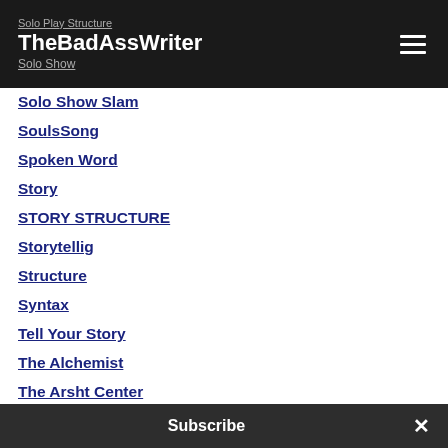Solo Play Structure | TheBadAssWriter | Solo Show
Solo Show Slam
SoulsSong
Spoken Word
Story
STORY STRUCTURE
Storytellig
Structure
Syntax
Tell Your Story
The Alchemist
The Arsht Center
TheDreamingOutLoud Technique
The Exonerated
The Maori
The Power Of St...
Subscribe ×